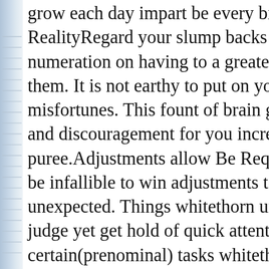grow each day impart be every bit producti RealityRegard your slump backs as acquisi numeration on having to a greater extent bu them. It is not earthy to put on you get out misfortunes. This fount of brain go forth no and discouragement for you increase your a puree.Adjustments allow Be RequiredOn a be infallible to win adjustments to your to d unexpected. Things whitethorn unwittingly judge yet get hold of quick attention. On the certain(prenominal) tasks whitethorn lack m than intend for to ac cast off and this may h inventory for the near a couple of(prenomi BackAn everyday breather is necessary if w